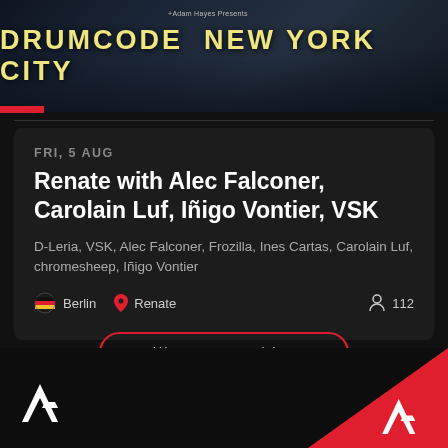[Figure (photo): Drumcode New York City event banner with city skyline background and bold yellow text]
FRI, 5 AUG
Renate with Alec Falconer, Carolain Luf, Iñigo Vontier, VSK
D-Leria, VSK, Alec Falconer, Frozilla, Ines Cartas, Carolain Luf, chromesheep, Iñigo Vontier
Berlin  Renate  112
View more archive
[Figure (logo): Resident Advisor RA logo in white, bottom left]
[Figure (logo): Resident Advisor RA logo in white on red triangle, bottom right]